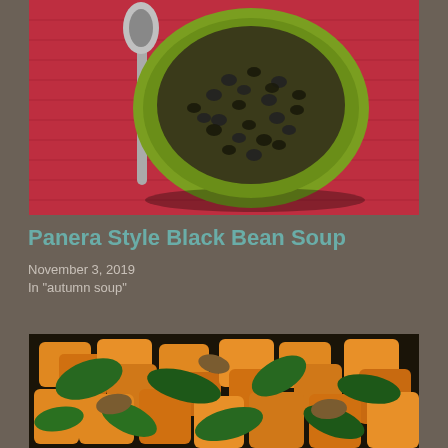[Figure (photo): Overhead photo of a green bowl of black bean soup on a red woven placemat with a silver spoon beside it]
Panera Style Black Bean Soup
November 3, 2019
In "autumn soup"
[Figure (photo): Close-up photo of roasted butternut squash cubes mixed with sautéed spinach and mushrooms in a dark pan]